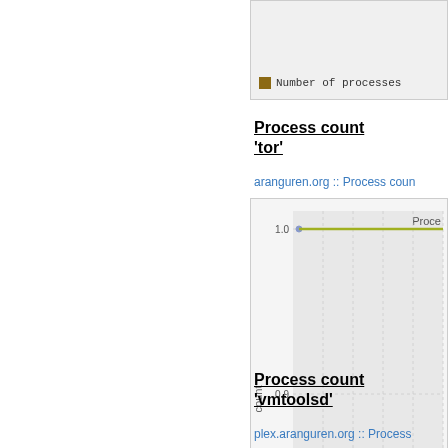[Figure (line-chart): Legend box showing 'Number of processes' with brown/orange square color swatch, part of a chart above cutoff]
Process count 'tor'
aranguren.org :: Process coun
[Figure (line-chart): Line chart showing process count stable at 1.0 from some start to October 2021, y-axis range 0.8 to 1.0]
Process count 'vmtoolsd'
plex.aranguren.org :: Process